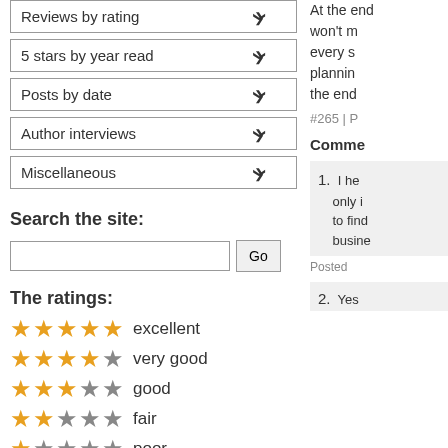Reviews by rating
5 stars by year read
Posts by date
Author interviews
Miscellaneous
Search the site:
The ratings:
★★★★★ excellent
★★★★☆ very good
★★★☆☆ good
★★☆☆☆ fair
★☆☆☆☆ poor
Blog stats:
BOOK REVIEWS: 623
At the end... won't m... every s... planning the end...
#265 | P...
Comments
1. I he... only i... to find... busine...
Posted...
2. Yes...